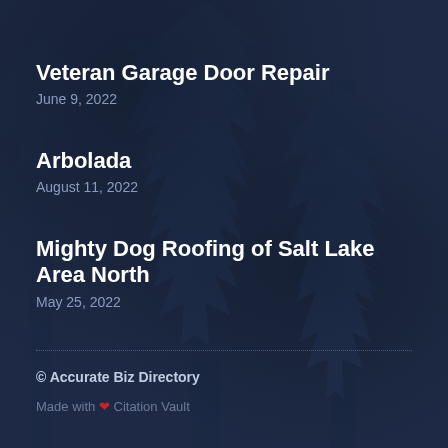Veteran Garage Door Repair
June 9, 2022
Arbolada
August 11, 2022
Mighty Dog Roofing of Salt Lake Area North
May 25, 2022
© Accurate Biz Directory
Made with ❤ Citation Vault